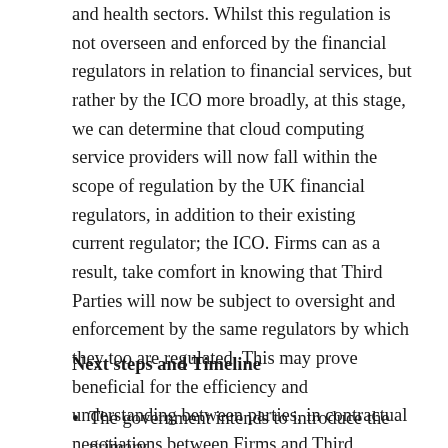and health sectors. Whilst this regulation is not overseen and enforced by the financial regulators in relation to financial services, but rather by the ICO more broadly, at this stage, we can determine that cloud computing service providers will now fall within the scope of regulation by the UK financial regulators, in addition to their existing current regulator; the ICO. Firms can as a result, take comfort in knowing that Third Parties will now be subject to oversight and enforcement by the same regulators by which they too are regulated. This may prove beneficial for the efficiency and understanding between parties, in contractual negotiations between Firms and Third Parties.
Next steps and Timeline
The government intends to introduce the primary